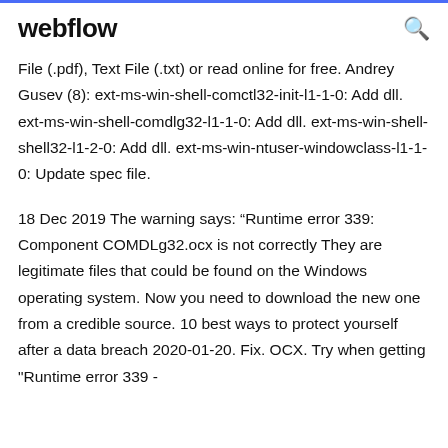webflow
File (.pdf), Text File (.txt) or read online for free. Andrey Gusev (8): ext-ms-win-shell-comctl32-init-l1-1-0: Add dll. ext-ms-win-shell-comdlg32-l1-1-0: Add dll. ext-ms-win-shell-shell32-l1-2-0: Add dll. ext-ms-win-ntuser-windowclass-l1-1-0: Update spec file.
18 Dec 2019 The warning says: “Runtime error 339: Component COMDLg32.ocx is not correctly They are legitimate files that could be found on the Windows operating system. Now you need to download the new one from a credible source. 10 best ways to protect yourself after a data breach 2020-01-20. Fix. OCX. Try when getting "Runtime error 339 -